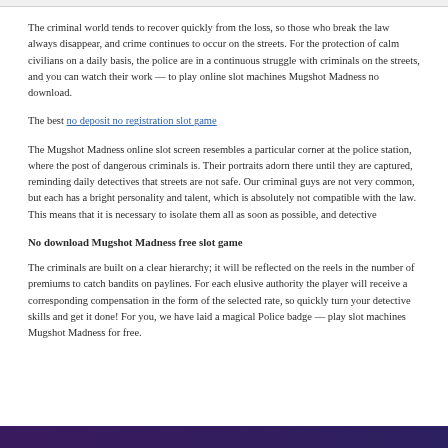The criminal world tends to recover quickly from the loss, so those who break the law always disappear, and crime continues to occur on the streets. For the protection of calm civilians on a daily basis, the police are in a continuous struggle with criminals on the streets, and you can watch their work — to play online slot machines Mugshot Madness no download.
The best no deposit no registration slot game
The Mugshot Madness online slot screen resembles a particular corner at the police station, where the post of dangerous criminals is. Their portraits adorn there until they are captured, reminding daily detectives that streets are not safe. Our criminal guys are not very common, but each has a bright personality and talent, which is absolutely not compatible with the law. This means that it is necessary to isolate them all as soon as possible, and detective
No download Mugshot Madness free slot game
The criminals are built on a clear hierarchy; it will be reflected on the reels in the number of premiums to catch bandits on paylines. For each elusive authority the player will receive a corresponding compensation in the form of the selected rate, so quickly turn your detective skills and get it done! For you, we have laid a magical Police badge — play slot machines Mugshot Madness for free.